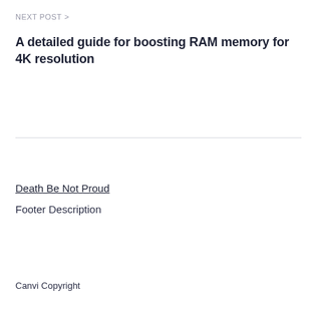NEXT POST >
A detailed guide for boosting RAM memory for 4K resolution
Death Be Not Proud
Footer Description
Canvi Copyright